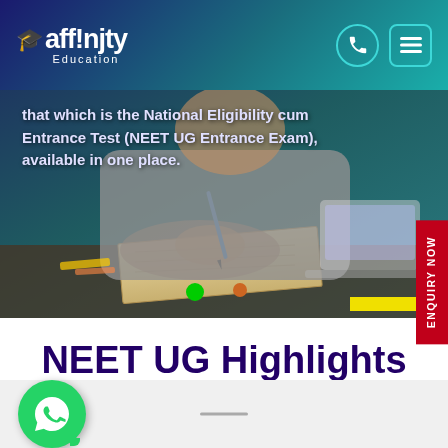Affinity Education
that which is the National Eligibility cum Entrance Test (NEET UG Entrance Exam), available in one place.
[Figure (photo): Student writing in a notebook, with a laptop nearby, in a library setting with teal/teal-green overlay]
NEET UG Highlights 2022
[Figure (logo): WhatsApp chat button (green circle with WhatsApp icon)]